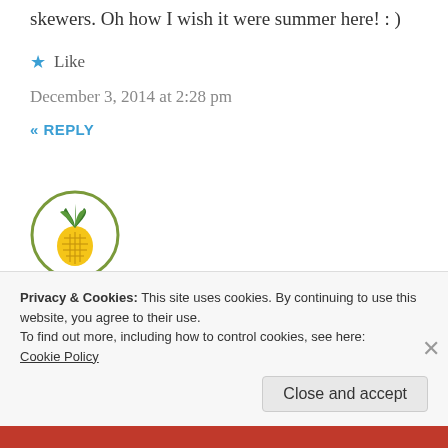skewers. Oh how I wish it were summer here! : )
★ Like
December 3, 2014 at 2:28 pm
« REPLY
[Figure (logo): Circular avatar icon with a stylized pineapple in green and yellow on white background with olive-green border]
The Novice Gardener says:
Guess I'm not eligible for this giveaway since I'm
Privacy & Cookies: This site uses cookies. By continuing to use this website, you agree to their use.
To find out more, including how to control cookies, see here:
Cookie Policy
Close and accept